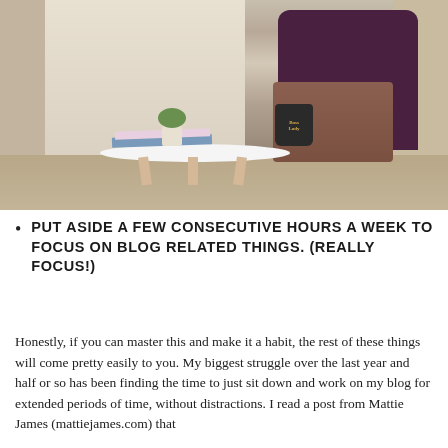[Figure (photo): A person sitting in a dark purple armchair working on a laptop. A white round side table in front holds books, a small plant, and a black 'Boss Lady' mug. The setting appears to be a home office or living space.]
PUT ASIDE A FEW CONSECUTIVE HOURS A WEEK TO FOCUS ON BLOG RELATED THINGS. (REALLY FOCUS!)
Honestly, if you can master this and make it a habit, the rest of these things will come pretty easily to you. My biggest struggle over the last year and half or so has been finding the time to just sit down and work on my blog for extended periods of time, without distractions. I read a post from Mattie James (mattiejames.com) that